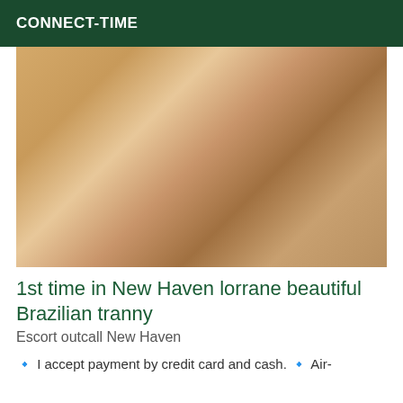CONNECT-TIME
[Figure (photo): Close-up photo of legs wearing black strappy lingerie/stockings, kneeling on a light carpet, with a teal chair visible in the background.]
1st time in New Haven lorrane beautiful Brazilian tranny
Escort outcall New Haven
🔹 I accept payment by credit card and cash. 🔹 Air-